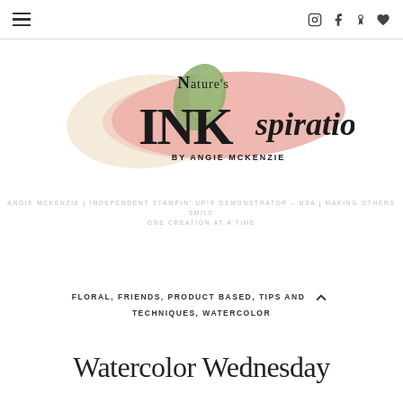≡  (Instagram) (Facebook) (Pinterest) (Heart)
[Figure (logo): Nature's INKspirations by Angie McKenzie logo with watercolor brush strokes in pink, green, and cream]
ANGIE MCKENZIE | INDEPENDENT STAMPIN' UP!® DEMONSTRATOR – USA | MAKING OTHERS SMILE ONE CREATION AT A TIME
FLORAL, FRIENDS, PRODUCT BASED, TIPS AND TECHNIQUES, WATERCOLOR
Watercolor Wednesday